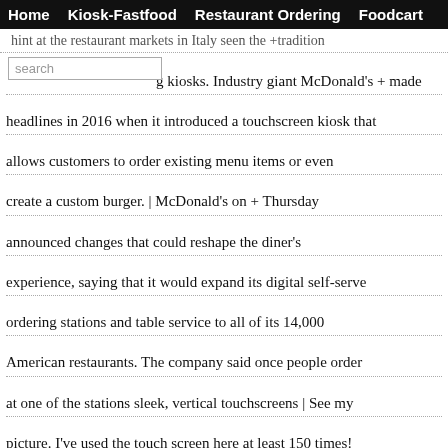Home  Kiosk-Fastfood  Restaurant Ordering  Foodcart
... hint at the restaurant markets in Italy seen the +tradition self-ordering kiosks. Industry giant McDonald's + made headlines in 2016 when it introduced a touchscreen kiosk that allows customers to order existing menu items or even create a custom burger. | McDonald's on + Thursday announced changes that could reshape the diner's experience, saying that it would expand its digital self-serve ordering stations and table service to all of its 14,000 American restaurants. The company said once people order at one of the stations sleek, vertical touchscreens | See my picture. I've used the touch screen here at least 150 times! Please don't get me started on why that is. Anyway, I think I'm qualified to answer. * First, they are huge and double + sided. My McDonald's has two of them so they can service fou | Abstract Automation has gained importance in every field of + human life. But there are still some fields where more